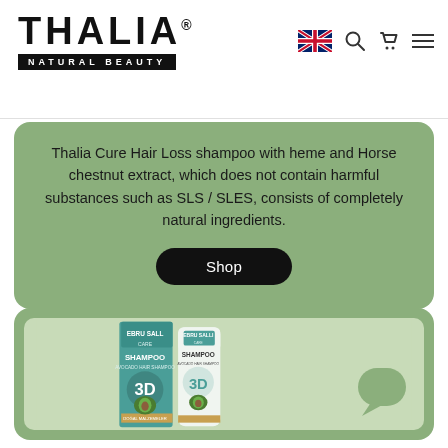[Figure (logo): Thalia Natural Beauty logo with large bold text and subtitle on black background strip]
[Figure (infographic): Navigation icons: UK flag, search, cart, hamburger menu]
Thalia Cure Hair Loss shampoo with heme and Horse chestnut extract, which does not contain harmful substances such as SLS / SLES, consists of completely natural ingredients.
[Figure (other): Black Shop button with rounded pill shape]
[Figure (photo): Ebru Salli 3D Shampoo product box and bottle with avocado imagery on green/white background inside a rounded card]